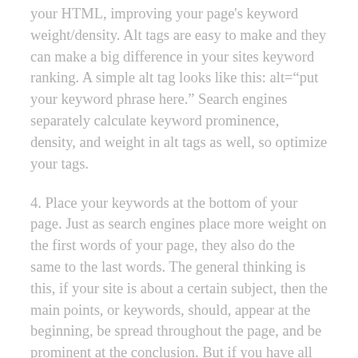your HTML, improving your page's keyword weight/density. Alt tags are easy to make and they can make a big difference in your sites keyword ranking. A simple alt tag looks like this: alt="put your keyword phrase here." Search engines separately calculate keyword prominence, density, and weight in alt tags as well, so optimize your tags.
4. Place your keywords at the bottom of your page. Just as search engines place more weight on the first words of your page, they also do the same to the last words. The general thinking is this, if your site is about a certain subject, then the main points, or keywords, should, appear at the beginning, be spread throughout the page, and be prominent at the conclusion. But if you have all of your navigational links and JavaScript at the bottom, your relevant page text could end well before the HTML does. An easy way to have your keywords at the bottom of your page is to include them in the copyright information. For example, if you have a dog food website, you could have